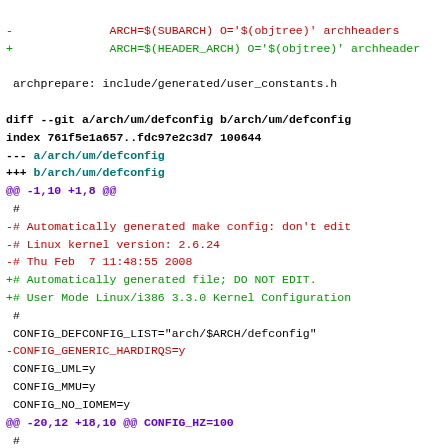- ARCH=$(SUBARCH) O='$(objtree)' archheaders
+ ARCH=$(HEADER_ARCH) O='$(objtree)' archheaders
archprepare: include/generated/user_constants.h
diff --git a/arch/um/defconfig b/arch/um/defconfig
index 761f5e1a657..fdc97e2c3d7 100644
--- a/arch/um/defconfig
+++ b/arch/um/defconfig
@@ -1,10 +1,8 @@
 #
-# Automatically generated make config: don't edit
-# Linux kernel version: 2.6.24
-# Thu Feb  7 11:48:55 2008
+# Automatically generated file; DO NOT EDIT.
+# User Mode Linux/i386 3.3.0 Kernel Configuration
 #
 CONFIG_DEFCONFIG_LIST="arch/$ARCH/defconfig"
-CONFIG_GENERIC_HARDIRQS=y
 CONFIG_UML=y
 CONFIG_MMU=y
 CONFIG_NO_IOMEM=y
@@ -20,12 +18,10 @@ CONFIG_HZ=100
 #
 # MMU...